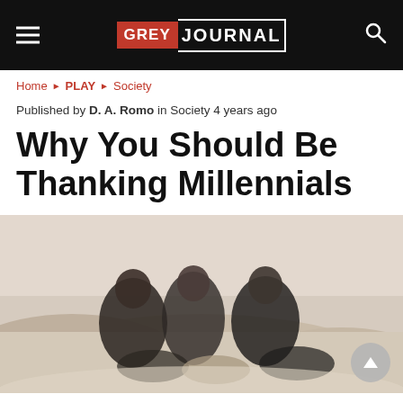Grey Journal
Home ▶ PLAY ▶ Society
Published by D. A. Romo in Society 4 years ago
Why You Should Be Thanking Millennials
[Figure (photo): Three young women sitting together on white sand dunes, smiling and posing. They are dressed in dark clothing. A desert landscape is visible in the background.]